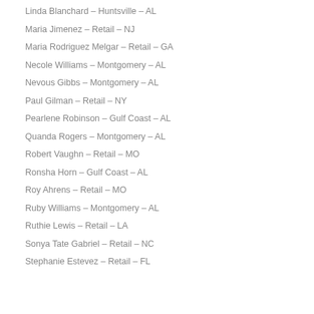Linda Blanchard – Huntsville – AL
Maria Jimenez – Retail – NJ
Maria Rodriguez Melgar – Retail – GA
Necole Williams – Montgomery – AL
Nevous Gibbs – Montgomery – AL
Paul Gilman – Retail – NY
Pearlene Robinson – Gulf Coast – AL
Quanda Rogers – Montgomery – AL
Robert Vaughn – Retail – MO
Ronsha Horn – Gulf Coast – AL
Roy Ahrens – Retail – MO
Ruby Williams – Montgomery – AL
Ruthie Lewis – Retail – LA
Sonya Tate Gabriel – Retail – NC
Stephanie Estevez – Retail – FL